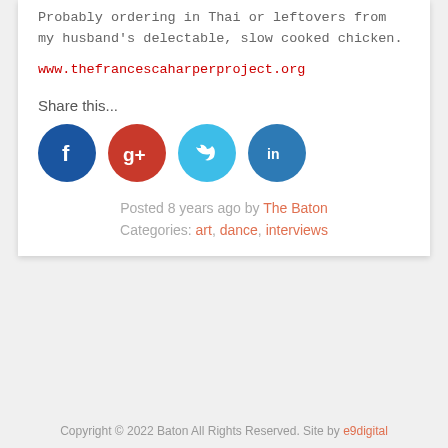Probably ordering in Thai or leftovers from my husband’s delectable, slow cooked chicken.
www.thefrancescaharperproject.org
Share this...
[Figure (infographic): Four social media share buttons: Facebook (dark blue), Google+ (red), Twitter (light blue), LinkedIn (blue)]
Posted 8 years ago by The Baton
Categories: art, dance, interviews
Copyright © 2022 Baton All Rights Reserved. Site by e9digital